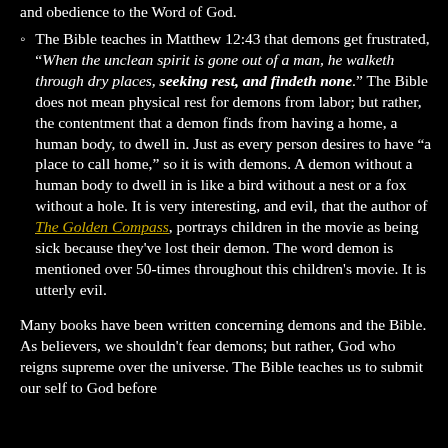and obedience to the Word of God.
The Bible teaches in Matthew 12:43 that demons get frustrated, "When the unclean spirit is gone out of a man, he walketh through dry places, seeking rest, and findeth none." The Bible does not mean physical rest for demons from labor; but rather, the contentment that a demon finds from having a home, a human body, to dwell in. Just as every person desires to have "a place to call home," so it is with demons. A demon without a human body to dwell in is like a bird without a nest or a fox without a hole. It is very interesting, and evil, that the author of The Golden Compass, portrays children in the movie as being sick because they've lost their demon. The word demon is mentioned over 50-times throughout this children's movie. It is utterly evil.
Many books have been written concerning demons and the Bible. As believers, we shouldn't fear demons; but rather, God who reigns supreme over the universe. The Bible teaches us to submit our self to God before